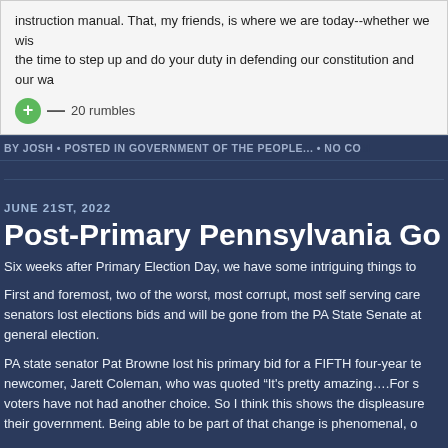instruction manual. That, my friends, is where we are today--whether we wish the time to step up and do your duty in defending our constitution and our wa
+ — 20 rumbles
BY JOSH • POSTED IN GOVERNMENT OF THE PEOPLE... • NO COM
JUNE 21ST, 2022
Post-Primary Pennsylvania Go
Six weeks after Primary Election Day, we have some intriguing things to
First and foremost, two of the worst, most corrupt, most self serving care senators lost elections bids and will be gone from the PA State Senate at general election.
PA state senator Pat Browne lost his primary bid for a FIFTH four-year te newcomer, Jarett Coleman, who was quoted "It's pretty amazing….For s voters have not had another choice. So I think this shows the displeasure their government. Being able to be part of that change is phenomenal, o